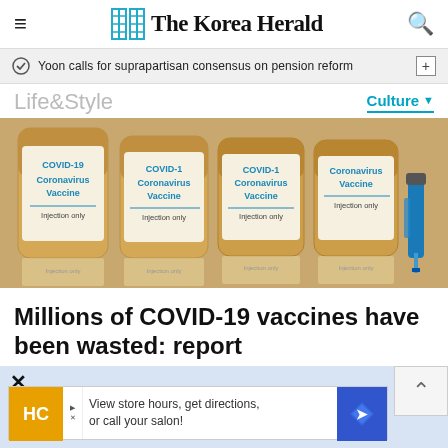The Korea Herald
Yoon calls for suprapartisan consensus on pension reform
Life&Style
Culture
[Figure (photo): Several amber glass vials labeled 'COVID-19 Coronavirus Vaccine Injection only' lined up, with a syringe visible on the right side.]
Millions of COVID-19 vaccines have been wasted: report
[Figure (other): Advertisement banner: HC logo, 'View store hours, get directions, or call your salon!' with blue diamond arrow icon. Close (X) button visible.]